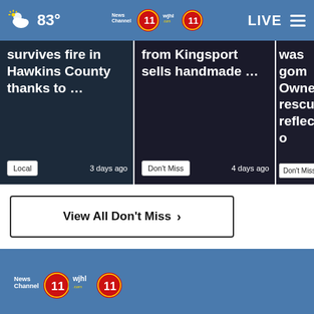83° News Channel 11 wjhl.com 11 LIVE
survives fire in Hawkins County thanks to ... Local 3 days ago
from Kingsport sells handmade ... Don't Miss 4 days ago
was gom Owner, rescuer reflect o ... Don't Miss
View All Don't Miss ▶
[Figure (logo): News Channel 11 wjhl.com 11 logo in footer]